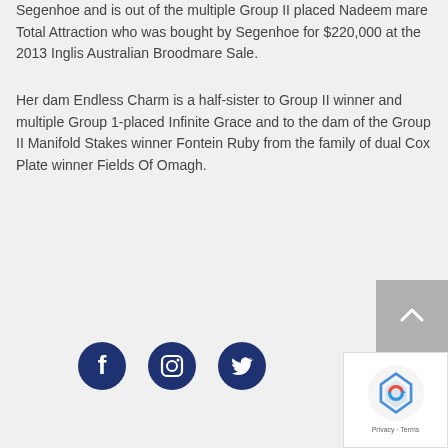Segenhoe and is out of the multiple Group II placed Nadeem mare Total Attraction who was bought by Segenhoe for $220,000 at the 2013 Inglis Australian Broodmare Sale.
Her dam Endless Charm is a half-sister to Group II winner and multiple Group 1-placed Infinite Grace and to the dam of the Group II Manifold Stakes winner Fontein Ruby from the family of dual Cox Plate winner Fields Of Omagh.
[Figure (other): Social media icons: Facebook, Instagram, Twitter circles in dark navy blue, plus a scroll-to-top button and reCAPTCHA widget in the bottom right corner.]